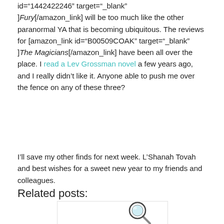id="1442422246" target="_blank" ]Fury[/amazon_link] will be too much like the other paranormal YA that is becoming ubiquitous. The reviews for [amazon_link id="B00509COAK" target="_blank" ]The Magicians[/amazon_link] have been all over the place. I read a Lev Grossman novel a few years ago, and I really didn't like it. Anyone able to push me over the fence on any of these three?
I'll save my other finds for next week. L'Shanah Tovah and best wishes for a sweet new year to my friends and colleagues.
Related posts:
[Figure (illustration): Cartoon illustration of a magnifying glass with a detective or search theme, partially visible at bottom of page.]